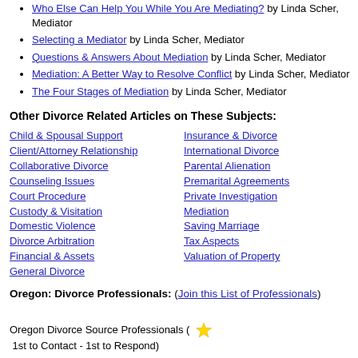Who Else Can Help You While You Are Mediating? by Linda Scher, Mediator
Selecting a Mediator by Linda Scher, Mediator
Questions & Answers About Mediation by Linda Scher, Mediator
Mediation: A Better Way to Resolve Conflict by Linda Scher, Mediator
The Four Stages of Mediation by Linda Scher, Mediator
Other Divorce Related Articles on These Subjects:
Child & Spousal Support
Client/Attorney Relationship
Collaborative Divorce
Counseling Issues
Court Procedure
Custody & Visitation
Domestic Violence
Divorce Arbitration
Financial & Assets
General Divorce
Insurance & Divorce
International Divorce
Parental Alienation
Premarital Agreements
Private Investigation
Mediation
Saving Marriage
Tax Aspects
Valuation of Property
Oregon: Divorce Professionals: (Join this List of Professionals)
Oregon Divorce Source Professionals ( ★ 1st to Contact - 1st to Respond)